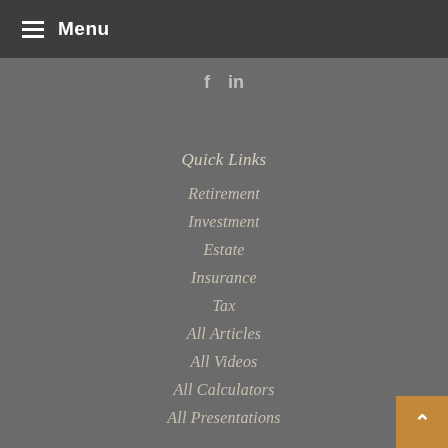Menu
[Figure (other): Social media icons: Facebook (f) and LinkedIn (in)]
Quick Links
Retirement
Investment
Estate
Insurance
Tax
All Articles
All Videos
All Calculators
All Presentations